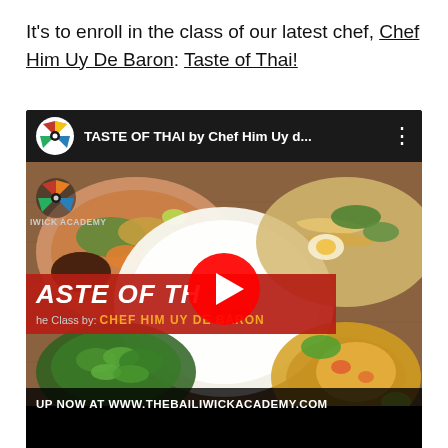It's to enroll in the class of our latest chef, Chef Him Uy De Baron: Taste of Thai!
[Figure (screenshot): YouTube video thumbnail for 'TASTE OF THAI by Chef Him Uy d...' showing Thai food dishes with a YouTube play button overlay. Red banner shows 'ASTE OF TH' and 'he Class by: CHEF HIM UY DE BARON'. Bottom text: 'UP NOW AT WWW.THEBAILIWICKACADEMY.COM'. Bailiwick Academy logo visible top-left.]